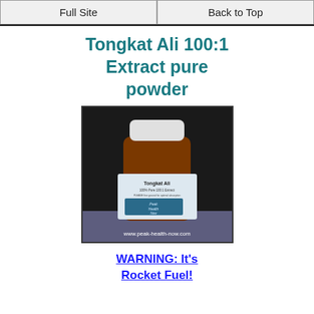Full Site | Back to Top
Tongkat Ali 100:1 Extract pure powder
[Figure (photo): Photo of a brown supplement bottle labeled 'Tongkat Ali 100% Pure 100:1 Extract' with 'Peak Health Now' branding and website www.peak-health-now.com shown at bottom]
WARNING: It's Rocket Fuel!